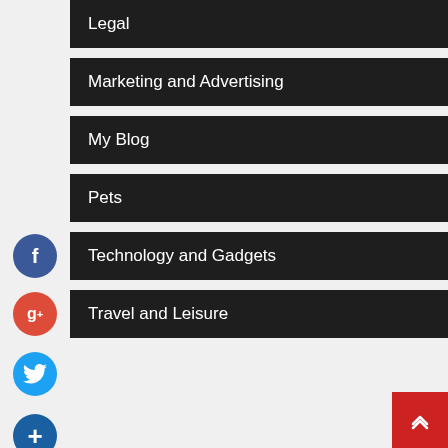Legal
Marketing and Advertising
My Blog
Pets
Technology and Gadgets
Travel and Leisure
Author Bio
Hi I am Isla Baynton a business analyst and part time